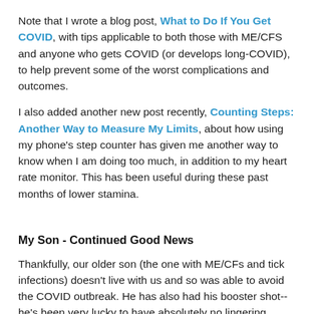Note that I wrote a blog post, What to Do If You Get COVID, with tips applicable to both those with ME/CFS and anyone who gets COVID (or develops long-COVID), to help prevent some of the worst complications and outcomes.
I also added another new post recently, Counting Steps: Another Way to Measure My Limits, about how using my phone's step counter has given me another way to know when I am doing too much, in addition to my heart rate monitor. This has been useful during these past months of lower stamina.
My Son - Continued Good News
Thankfully, our older son (the one with ME/CFs and tick infections) doesn't live with us and so was able to avoid the COVID outbreak. He has also had his booster shot--he's been very lucky to have absolutely no lingering effects from any of his three COVID vaccines--just the standard 2-3 day response a healthy person might have. I'm grateful for that.